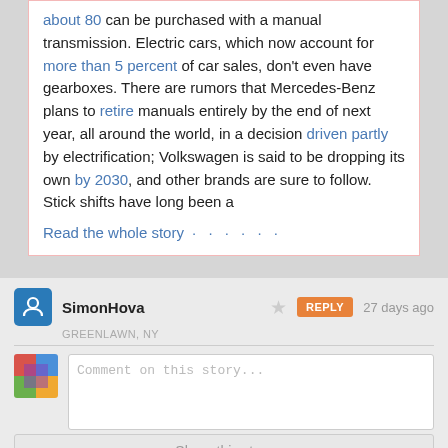about 80 can be purchased with a manual transmission. Electric cars, which now account for more than 5 percent of car sales, don't even have gearboxes. There are rumors that Mercedes-Benz plans to retire manuals entirely by the end of next year, all around the world, in a decision driven partly by electrification; Volkswagen is said to be dropping its own by 2030, and other brands are sure to follow. Stick shifts have long been a
Read the whole story · · · · · ·
SimonHova
GREENLAWN, NY
27 days ago
Comment on this story...
Share this story
1 public comment
istoner
27 days ago
"Crawford argues that this cognitive enhancement is possible only when you can interpret the components of the tool you're operating. As a rider must sense the horse's gait, so must a driver grok the engine's torque. But modern automotive technology tends to inhibit that connection."